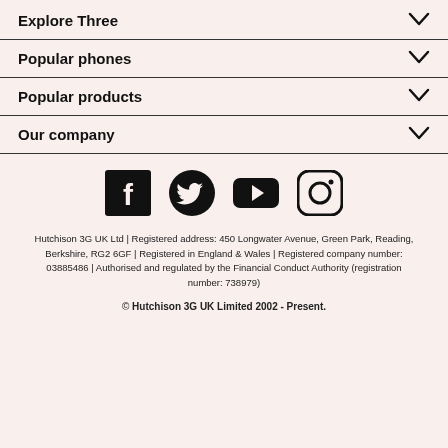Explore Three
Popular phones
Popular products
Our company
[Figure (illustration): Social media icons: Facebook, Twitter, YouTube, Instagram]
Hutchison 3G UK Ltd | Registered address: 450 Longwater Avenue, Green Park, Reading, Berkshire, RG2 6GF | Registered in England & Wales | Registered company number: 03885486 | Authorised and regulated by the Financial Conduct Authority (registration number: 738979)
© Hutchison 3G UK Limited 2002 - Present.